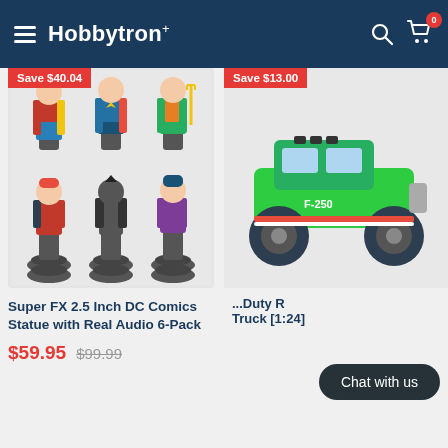Hobbytron
[Figure (photo): DC Comics Super FX statues 6-pack: Harley Quinn, Batman, Joker (top row), Wonder Woman, Superman, Aquaman (bottom row), each on a gray electronic base]
Super FX 2.5 Inch DC Comics Statue with Real Audio 6-Pack
$59.95  $99.99
[Figure (photo): Green F-250 monster truck RC vehicle]
Duty R Truck [1:24]